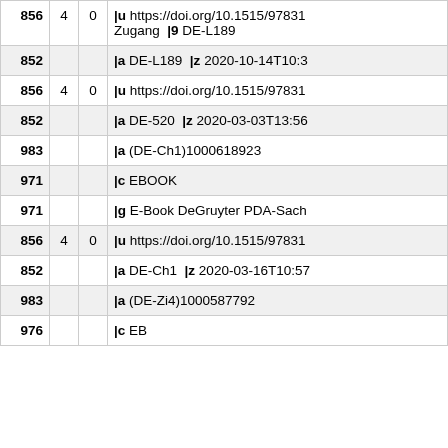| 856 | 4 | 0 | |u https://doi.org/10.1515/97831 Zugang |9 DE-L189 |
| 852 |  |  | |a DE-L189  |z 2020-10-14T10:3 |
| 856 | 4 | 0 | |u https://doi.org/10.1515/97831 |
| 852 |  |  | |a DE-520  |z 2020-03-03T13:56 |
| 983 |  |  | |a (DE-Ch1)1000618923 |
| 971 |  |  | |c EBOOK |
| 971 |  |  | |g E-Book DeGruyter PDA-Sach |
| 856 | 4 | 0 | |u https://doi.org/10.1515/97831 |
| 852 |  |  | |a DE-Ch1  |z 2020-03-16T10:57 |
| 983 |  |  | |a (DE-Zi4)1000587792 |
| 976 |  |  | |c EB |